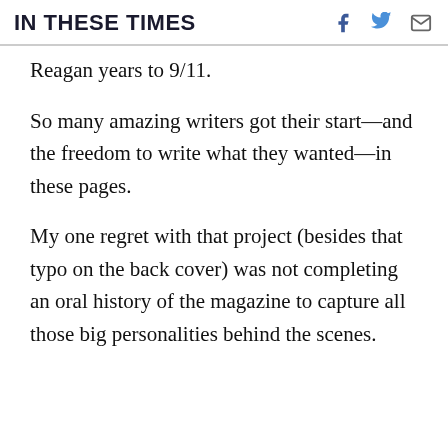IN THESE TIMES
Reagan years to 9/11.
So many amazing writers got their start—and the freedom to write what they wanted—in these pages.
My one regret with that project (besides that typo on the back cover) was not completing an oral history of the magazine to capture all those big personalities behind the scenes.